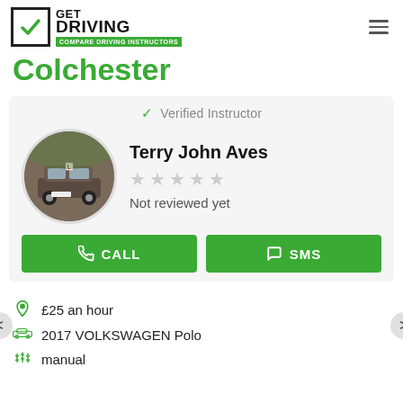GET DRIVING - COMPARE DRIVING INSTRUCTORS
Colchester
✓ Verified Instructor
[Figure (photo): Oval-framed photo of a dark brown Volkswagen Polo car with driving instructor signage]
Terry John Aves
Not reviewed yet
CALL
SMS
£25 an hour
2017 VOLKSWAGEN Polo
manual